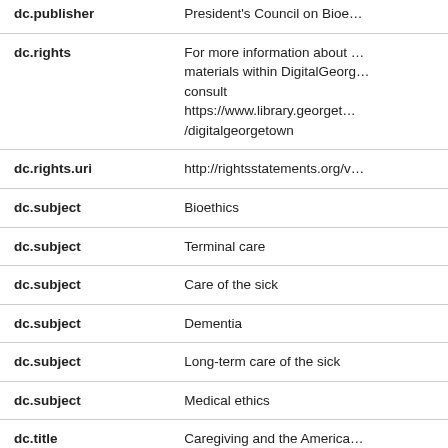| Field | Value |
| --- | --- |
| dc.publisher | President's Council on Bioe… |
| dc.rights | For more information about …
materials within DigitalGeorg…
consult
https://www.library.georget…
/digitalgeorgetown |
| dc.rights.uri | http://rightsstatements.org/v… |
| dc.subject | Bioethics |
| dc.subject | Terminal care |
| dc.subject | Care of the sick |
| dc.subject | Dementia |
| dc.subject | Long-term care of the sick |
| dc.subject | Medical ethics |
| dc.title | Caregiving and the America… |